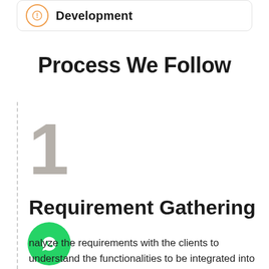Development
Process We Follow
[Figure (infographic): Large gray numeral '1' as a step indicator]
Requirement Gathering
[Figure (logo): WhatsApp green circular button icon]
nalyze the requirements with the clients to understand the functionalities to be integrated into the app. This process enables